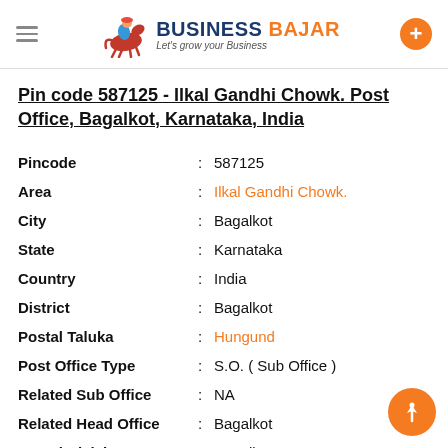BUSINESS BAJAR — Let's grow your Business
Pin code 587125 - Ilkal Gandhi Chowk. Post Office, Bagalkot, Karnataka, India
| Field | Value |
| --- | --- |
| Pincode | 587125 |
| Area | Ilkal Gandhi Chowk. |
| City | Bagalkot |
| State | Karnataka |
| Country | India |
| District | Bagalkot |
| Postal Taluka | Hungund |
| Post Office Type | S.O. ( Sub Office ) |
| Related Sub Office | NA |
| Related Head Office | Bagalkot |
| Postal Division | Bagalkot |